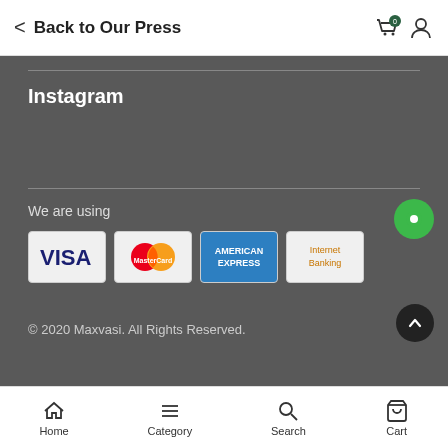Back to Our Press
Instagram
We are using
[Figure (logo): Payment method logos: VISA, MasterCard, American Express, Internet Banking]
© 2020 Maxvasi. All Rights Reserved.
Home  Category  Search  Cart